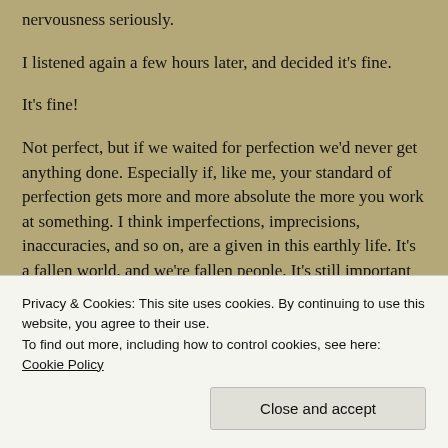nervousness seriously.
I listened again a few hours later, and decided it's fine.
It's fine!
Not perfect, but if we waited for perfection we'd never get anything done. Especially if, like me, your standard of perfection gets more and more absolute the more you work at something. I think imperfections, imprecisions, inaccuracies, and so on, are a given in this earthly life. It's a fallen world, and we're fallen people. It's still important
Privacy & Cookies: This site uses cookies. By continuing to use this website, you agree to their use.
To find out more, including how to control cookies, see here: Cookie Policy
Close and accept